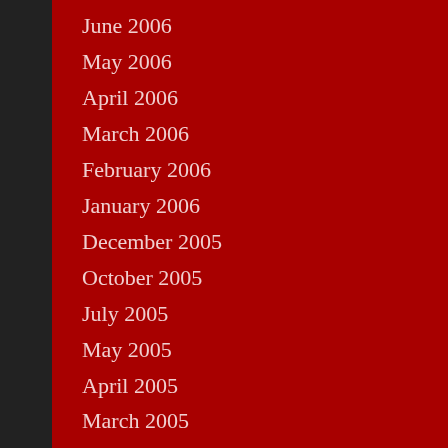June 2006
May 2006
April 2006
March 2006
February 2006
January 2006
December 2005
October 2005
July 2005
May 2005
April 2005
March 2005
February 2005
January 2005